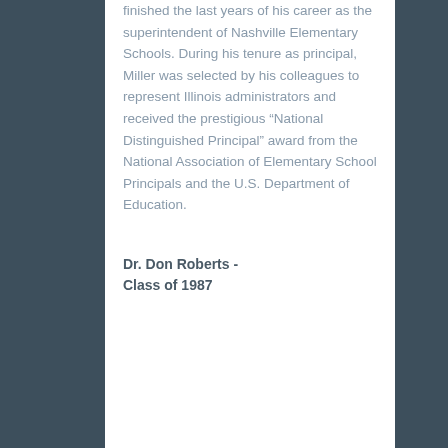finished the last years of his career as the superintendent of Nashville Elementary Schools. During his tenure as principal, Miller was selected by his colleagues to represent Illinois administrators and received the prestigious “National Distinguished Principal” award from the National Association of Elementary School Principals and the U.S. Department of Education.
Dr. Don Roberts - Class of 1987